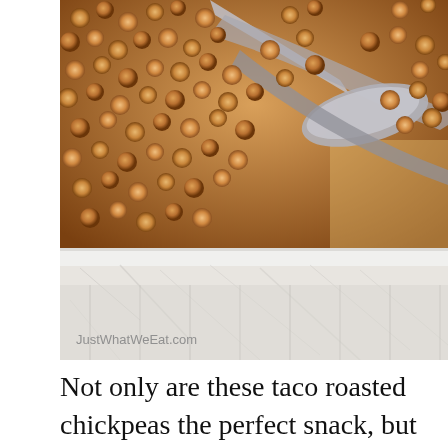[Figure (photo): Close-up photo of taco roasted chickpeas on a baking sheet with a metal spoon, with white marble surface visible below. Watermark reads JustWhatWeEat.com.]
Not only are these taco roasted chickpeas the perfect snack, but they are also amazing in vegan tacos!